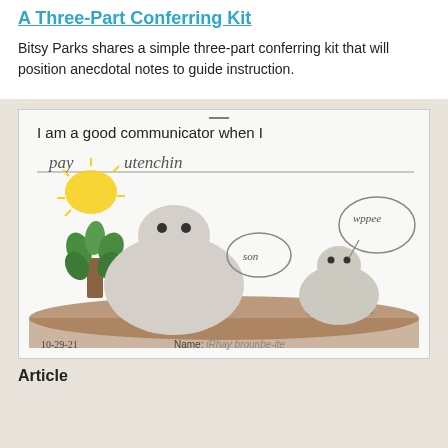A Three-Part Conferring Kit
Bitsy Parks shares a simple three-part conferring kit that will position anecdotal notes to guide instruction.
[Figure (photo): A child's hand-drawn picture on white paper showing animals (possibly groundhogs) in a field with a sun and plants. Text at the top reads 'I am a good communicator when I' with a child's handwritten answer 'pay utenchin'. Speech bubbles read 'son' and 'wppee'. Bottom shows a date '10-29-21' and 'Name: [child's name]'.]
Article